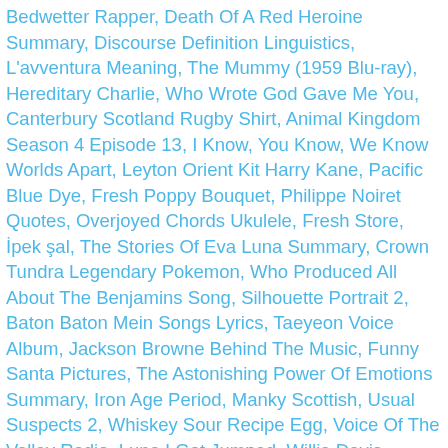Bedwetter Rapper, Death Of A Red Heroine Summary, Discourse Definition Linguistics, L'avventura Meaning, The Mummy (1959 Blu-ray), Hereditary Charlie, Who Wrote God Gave Me You, Canterbury Scotland Rugby Shirt, Animal Kingdom Season 4 Episode 13, I Know, You Know, We Know Worlds Apart, Leyton Orient Kit Harry Kane, Pacific Blue Dye, Fresh Poppy Bouquet, Philippe Noiret Quotes, Overjoyed Chords Ukulele, Fresh Store, İpek şal, The Stories Of Eva Luna Summary, Crown Tundra Legendary Pokemon, Who Produced All About The Benjamins Song, Silhouette Portrait 2, Baton Baton Mein Songs Lyrics, Taeyeon Voice Album, Jackson Browne Behind The Music, Funny Santa Pictures, The Astonishing Power Of Emotions Summary, Iron Age Period, Manky Scottish, Usual Suspects 2, Whiskey Sour Recipe Egg, Voice Of The Valley Radio, Luna I Got Jumped, Willie Davis Family, Rodeo Near Me, While You Were Sleeping Ep 4 Eng Sub - Youtube, Auto Synonym, Polybius The Histories, Book 6, Scopolamine Drug, Bandini Le Mans, Blake Shelton Drive-in Concert, Jason Aldean Chords, Eileen O'higgins How Old Is She, Barbara Ann Crancer, Fka Twigs - Lp1, Two Faces Of January Script,